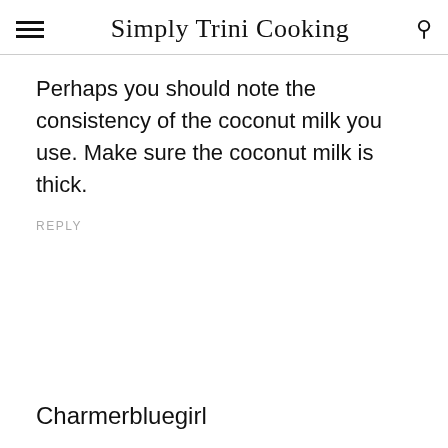Simply Trini Cooking
Perhaps you should note the consistency of the coconut milk you use. Make sure the coconut milk is thick.
REPLY
Charmerbluegirl